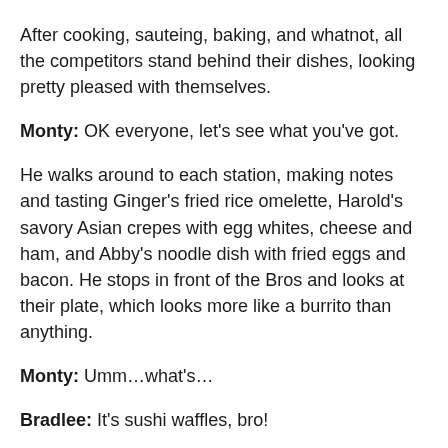After cooking, sauteing, baking, and whatnot, all the competitors stand behind their dishes, looking pretty pleased with themselves.
Monty: OK everyone, let's see what you've got.
He walks around to each station, making notes and tasting Ginger's fried rice omelette, Harold's savory Asian crepes with egg whites, cheese and ham, and Abby's noodle dish with fried eggs and bacon. He stops in front of the Bros and looks at their plate, which looks more like a burrito than anything.
Monty: Umm...what's...
Bradlee: It's sushi waffles, bro!
Bowie: With eggs, sausage, and tater tots!